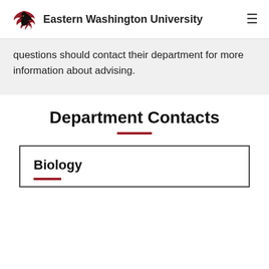Eastern Washington University
questions should contact their department for more information about advising.
Department Contacts
Biology